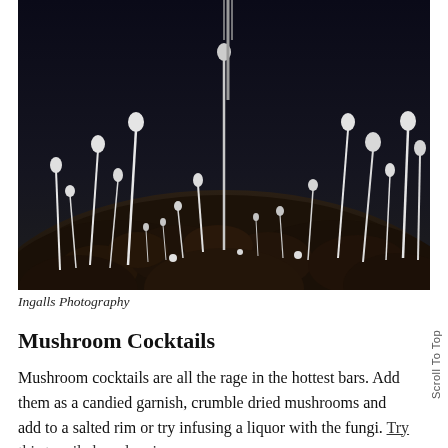[Figure (photo): Close-up photograph of dark soil/earth with thin white mushrooms (enoki) growing out of it against a dark background. The mushrooms have thin white stems and small round caps.]
Ingalls Photography
Mushroom Cocktails
Mushroom cocktails are all the rage in the hottest bars. Add them as a candied garnish, crumble dried mushrooms and add to a salted rim or try infusing a liquor with the fungi. Try this tequila based recipe.